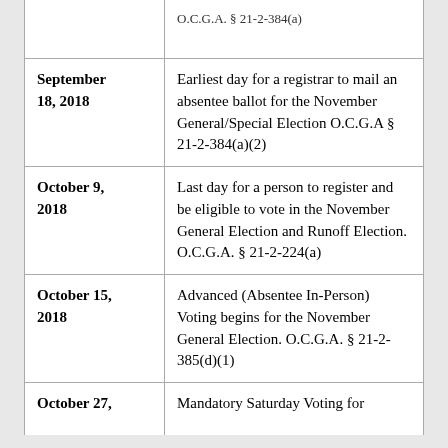| Date | Description |
| --- | --- |
|  | O.C.G.A. § 21-2-384(a) |
| September 18, 2018 | Earliest day for a registrar to mail an absentee ballot for the November General/Special Election O.C.G.A § 21-2-384(a)(2) |
| October 9, 2018 | Last day for a person to register and be eligible to vote in the November General Election and Runoff Election. O.C.G.A. § 21-2-224(a) |
| October 15, 2018 | Advanced (Absentee In-Person) Voting begins for the November General Election. O.C.G.A. § 21-2-385(d)(1) |
| October 27, | Mandatory Saturday Voting for |